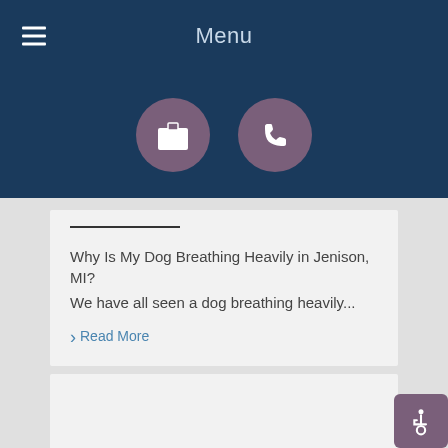Menu
[Figure (illustration): Two circular icon buttons on dark blue background: a medical kit icon and a phone icon, both in muted purple circles]
Why Is My Dog Breathing Heavily in Jenison, MI? We have all seen a dog breathing heavily...
› Read More
[Figure (illustration): Empty light gray card placeholder area]
[Figure (illustration): Accessibility icon button in purple/mauve rounded square at bottom right corner]